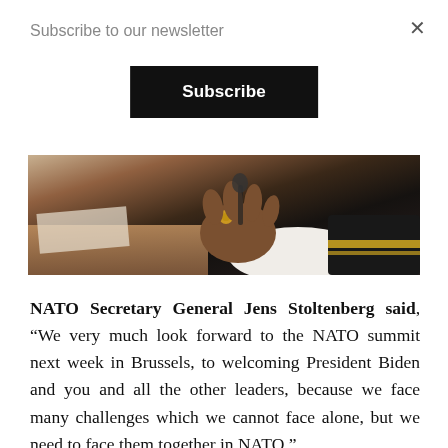Subscribe to our newsletter
Subscribe
[Figure (photo): Close-up photo of a person's hands, one wearing a ring, dressed in a dark military-style uniform with gold sleeve details, resting on a wooden surface with papers nearby.]
NATO Secretary General Jens Stoltenberg said, “We very much look forward to the NATO summit next week in Brussels, to welcoming President Biden and you and all the other leaders, because we face many challenges which we cannot face alone, but we need to face them together in NATO.”
“Preparing for the NATO 2030 agenda is that we need to continue to invest. We need to continue to strengthen our deterrence and defense, but also to